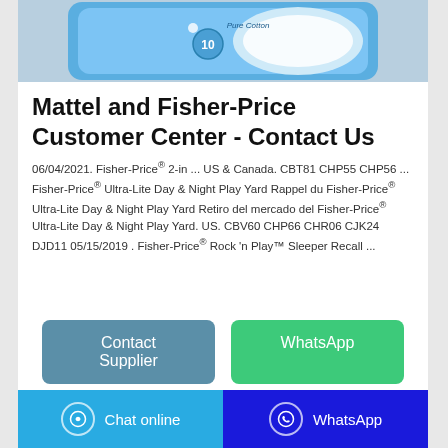[Figure (photo): Product image of a blue sanitary pad package labeled Pure Cotton with number 10]
Mattel and Fisher-Price Customer Center - Contact Us
06/04/2021. Fisher-Price® 2-in ... US & Canada. CBT81 CHP55 CHP56 ... Fisher-Price® Ultra-Lite Day & Night Play Yard Rappel du Fisher-Price® Ultra-Lite Day & Night Play Yard Retiro del mercado del Fisher-Price® Ultra-Lite Day & Night Play Yard. US. CBV60 CHP66 CHR06 CJK24 DJD11 05/15/2019 . Fisher-Price® Rock 'n Play™ Sleeper Recall ...
Contact Supplier
WhatsApp
Chat online   WhatsApp